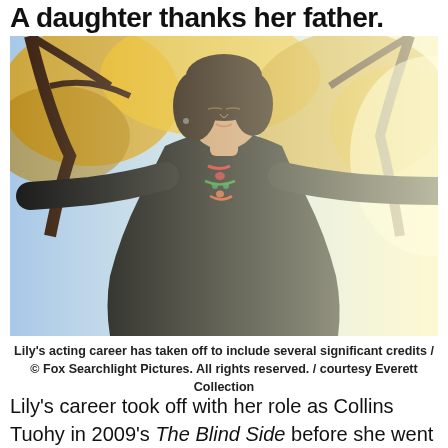A daughter thanks her father.
[Figure (photo): A young woman with long curly dark hair wearing a black embroidered jacket, standing outdoors with arms spread wide, surrounded by autumn foliage trees in the background]
Lily's acting career has taken off to include several significant credits / © Fox Searchlight Pictures. All rights reserved. / courtesy Everett Collection
Lily's career took off with her role as Collins Tuohy in 2009's The Blind Side before she went on to populate thrillers and comedies such as Rules Don't